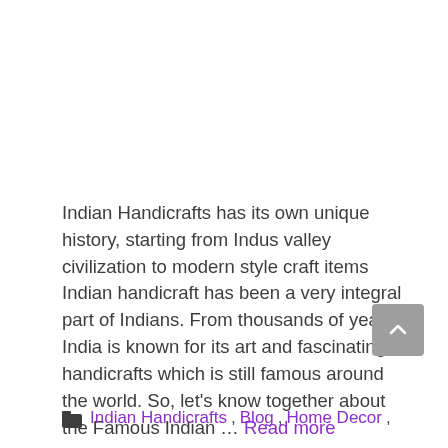Indian Handicrafts has its own unique history, starting from Indus valley civilization to modern style craft items Indian handicraft has been a very integral part of Indians. From thousands of years, India is known for its art and fascinating handicrafts which is still famous around the world. So, let's know together about the Famous Indian … Read more
Indian Handicrafts, Blog, Home Decor,